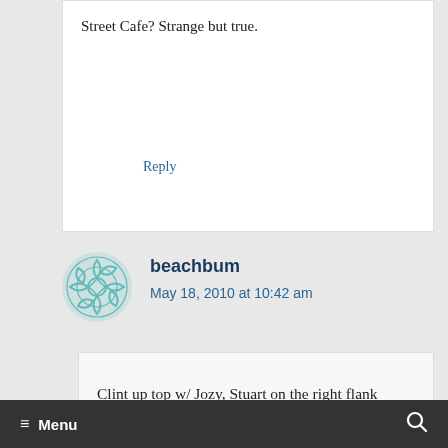Street Cafe? Strange but true.
Reply
beachbum
May 18, 2010 at 10:42 am
Clint up top w/ Jozy, Stuart on the right flank working with Spector, Landon on the left. Barring injury, there it is.
≡ Menu